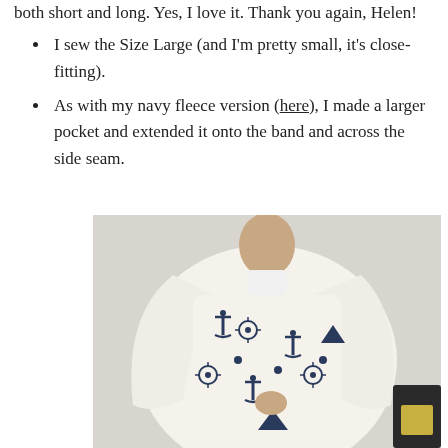both short and long. Yes, I love it. Thank you again, Helen!
I sew the Size Large (and I'm pretty small, it's close-fitting).
As with my navy fleece version (here), I made a larger pocket and extended it onto the band and across the side seam.
[Figure (photo): Person wearing a white garment with dark navy nautical print pattern featuring anchors, ship wheels, and other nautical motifs. The garment appears to be a robe or cardigan. The person is standing against a light-colored wall.]